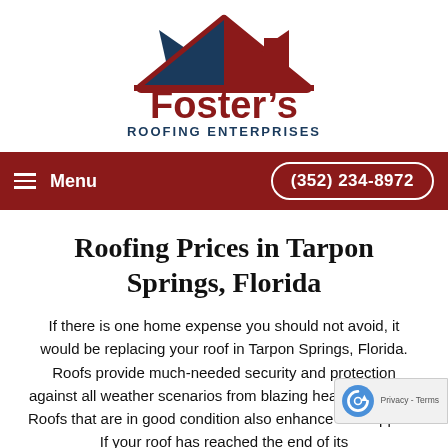[Figure (logo): Foster's Roofing Enterprises logo with house roof icon in dark red and navy blue, and company name text]
Menu  (352) 234-8972
Roofing Prices in Tarpon Springs, Florida
If there is one home expense you should not avoid, it would be replacing your roof in Tarpon Springs, Florida. Roofs provide much-needed security and protection against all weather scenarios from blazing heat to and hail. Roofs that are in good condition also enhance curb appeal. If your roof has reached the end of its...